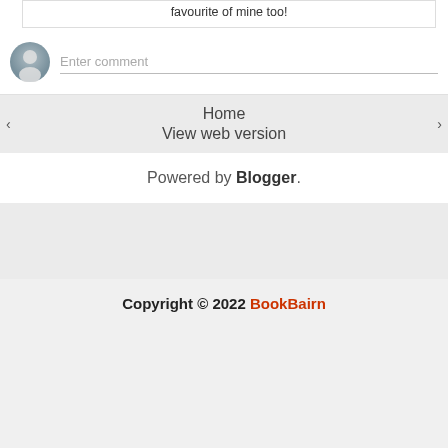favourite of mine too!
Enter comment
Home
View web version
Powered by Blogger.
Copyright © 2022 BookBairn